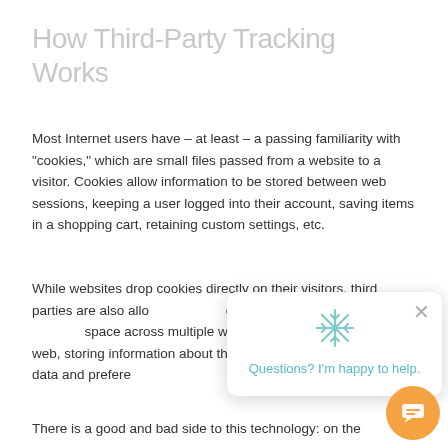How Third-Party Tracking Works
Most Internet users have – at least – a passing familiarity with “cookies,” which are small files passed from a website to a visitor. Cookies allow information to be stored between web sessions, keeping a user logged into their account, saving items in a shopping cart, retaining custom settings, etc.
While websites drop cookies directly on their visitors, third parties are also allo[wed to plant cookies in the space] of their partner domain[s. This allows a third party to occupy] space across multiple w[ebsites, and use their cookie to] track a user across the web, storing information about their online habits, demographic data and prefere[nces].
There is a good and bad side to this technology: on the
[Figure (other): Chat popup overlay with snowflake icon and text 'Questions? I'm happy to help.' with a close button, and an orange chat button in the bottom right corner.]